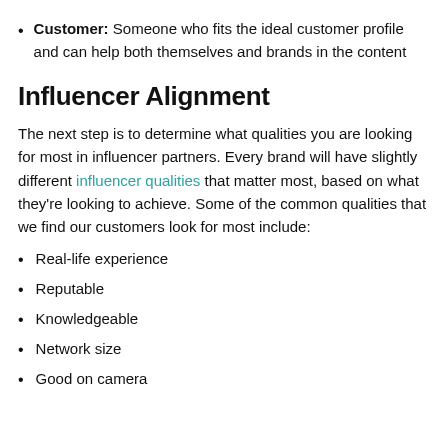Customer: Someone who fits the ideal customer profile and can help both themselves and brands in the content
Influencer Alignment
The next step is to determine what qualities you are looking for most in influencer partners. Every brand will have slightly different influencer qualities that matter most, based on what they're looking to achieve. Some of the common qualities that we find our customers look for most include:
Real-life experience
Reputable
Knowledgeable
Network size
Good on camera